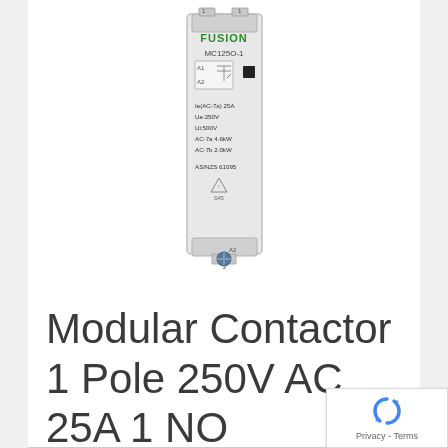[Figure (photo): Product photo of a Fusion MC125O-1 Modular Contactor device. The device is a narrow white/grey plastic unit with green 'FUSION' brand text at top, model number MC125O-1, terminal markings A1, A2, labels including Ie(AC-7a) 25A, Ue:250V, Ui:500V, AC-7a 4.6kW, AC-7b 2.0kW, AS/NZS 61095, and a safety triangle symbol.]
Modular Contactor 1 Pole 250V AC 25A 1 NO